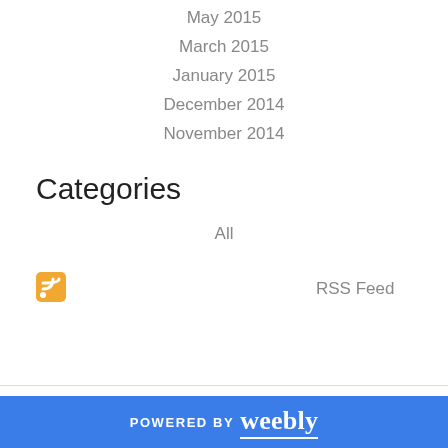May 2015
March 2015
January 2015
December 2014
November 2014
Categories
All
[Figure (logo): RSS feed icon - orange square with white wifi signal arcs]
RSS Feed
POWERED BY weebly